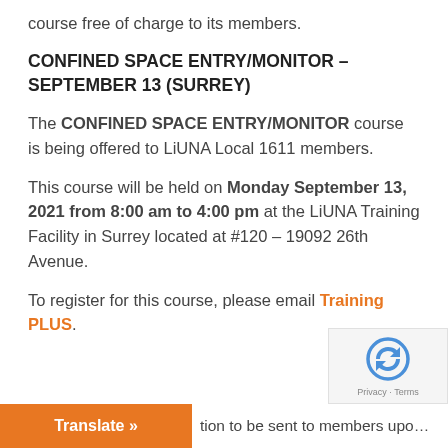course free of charge to its members.
CONFINED SPACE ENTRY/MONITOR – SEPTEMBER 13 (SURREY)
The CONFINED SPACE ENTRY/MONITOR course is being offered to LiUNA Local 1611 members.
This course will be held on Monday September 13, 2021 from 8:00 am to 4:00 pm at the LiUNA Training Facility in Surrey located at #120 – 19092 26th Avenue.
To register for this course, please email Training PLUS.
tion to be sent to members upo...